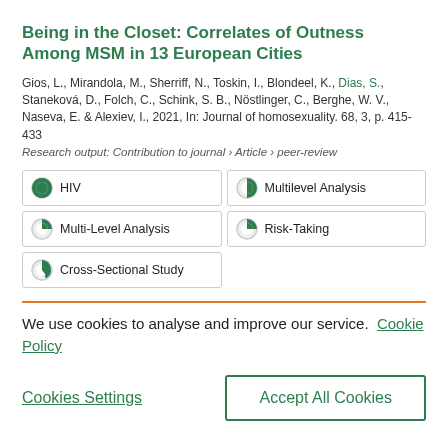Being in the Closet: Correlates of Outness Among MSM in 13 European Cities
Gios, L., Mirandola, M., Sherriff, N., Toskin, I., Blondeel, K., Dias, S., Staneková, D., Folch, C., Schink, S. B., Nöstlinger, C., Berghe, W. V., Naseva, E. & Alexiev, I., 2021, In: Journal of homosexuality. 68, 3, p. 415-433
Research output: Contribution to journal › Article › peer-review
HIV
Multilevel Analysis
Multi-Level Analysis
Risk-Taking
Cross-Sectional Study
We use cookies to analyse and improve our service. Cookie Policy
Cookies Settings
Accept All Cookies